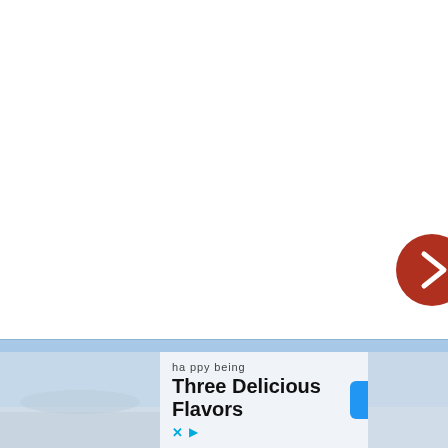[Figure (screenshot): White background area with a partially visible red circular navigation arrow button on the right edge, pointing right (chevron right symbol in white on dark red circle)]
[Figure (screenshot): Advertisement banner at bottom: light blue top strip, then white/light grey background ad with left and right thumbnail images. Ad shows 'happy being' tagline and 'Three Delicious Flavors' title text, with X and play icons at bottom left, and a blue OPEN button on the right.]